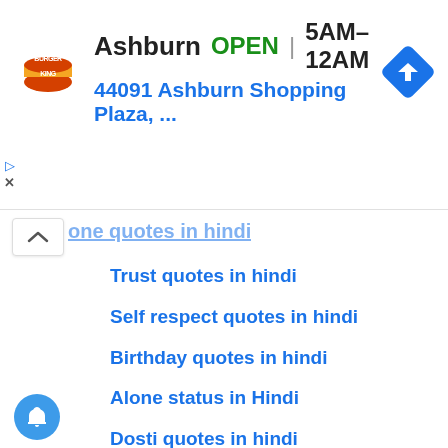[Figure (screenshot): Burger King advertisement banner showing Ashburn location — OPEN 5AM-12AM, address 44091 Ashburn Shopping Plaza, with navigation icon]
one quotes in hindi (partial, truncated)
Trust quotes in hindi
Self respect quotes in hindi
Birthday quotes in hindi
Alone status in Hindi
Dosti quotes in hindi
Nature quotes in hindi
Very heart touching sad quotes in hindi
Kannada quotes
Telugu quotes